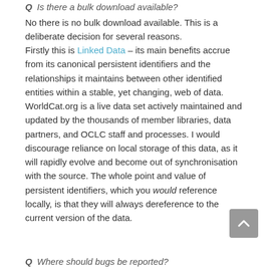Q Is there a bulk download available?
No there is no bulk download available.  This is a deliberate decision for several reasons.
Firstly this is Linked Data – its main benefits accrue from its canonical persistent identifiers and the relationships it maintains between other identified entities within a stable, yet changing, web of data. WorldCat.org is a live data set actively maintained and updated by the thousands of member libraries, data partners, and OCLC staff and processes. I would discourage reliance on local storage of this data, as it will rapidly evolve and become out of synchronisation with the source.  The whole point and value of persistent identifiers, which you would reference locally, is that they will always dereference to the current version of the data.
Q Where should bugs be reported?